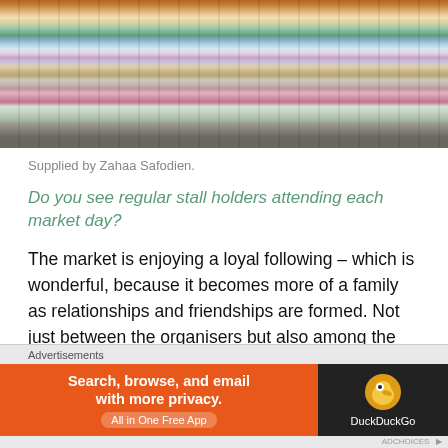[Figure (photo): Clothing rack with multiple hanging garments of various colors including orange, yellow, green, blue, striped, and patterned items.]
Supplied by Zahaa Safodien.
Do you see regular stall holders attending each market day?
The market is enjoying a loyal following – which is wonderful, because it becomes more of a family as relationships and friendships are formed. Not just between the organisers but also among the traders, and patrons alike. It is heartwarming to see traders hug each other and using the day to
Advertisements
Search, browse, and email with more privacy.
All in One Free App
DuckDuckGo